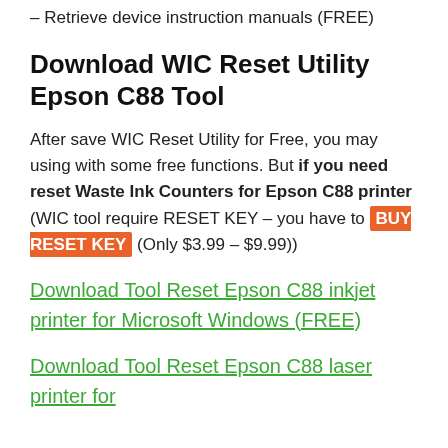– Retrieve device instruction manuals (FREE)
Download WIC Reset Utility Epson C88 Tool
After save WIC Reset Utility for Free, you may using with some free functions. But if you need reset Waste Ink Counters for Epson C88 printer (WIC tool require RESET KEY – you have to BUY RESET KEY (Only $3.99 – $9.99))
Download Tool Reset Epson C88 inkjet printer for Microsoft Windows (FREE)
Download Tool Reset Epson C88 laser printer for